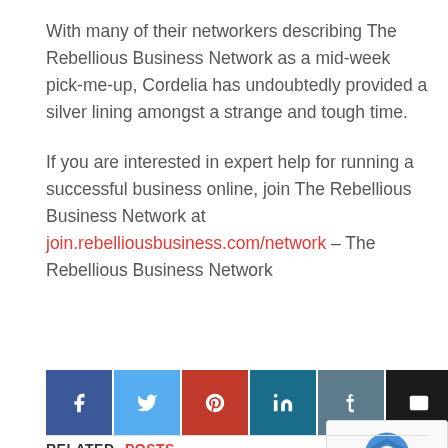With many of their networkers describing The Rebellious Business Network as a mid-week pick-me-up, Cordelia has undoubtedly provided a silver lining amongst a strange and tough time.
If you are interested in expert help for running a successful business online, join The Rebellious Business Network at join.rebelliousbusiness.com/network – The Rebellious Business Network
[Figure (infographic): Social media sharing buttons: Facebook (blue), Twitter (light blue), Pinterest (red), LinkedIn (teal), Tumblr (grey-blue), Email (black)]
[Figure (other): reCAPTCHA widget overlay with Google logo and Privacy - Terms text]
RELATED POSTS